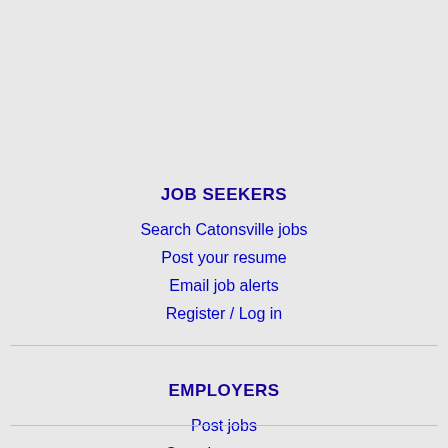JOB SEEKERS
Search Catonsville jobs
Post your resume
Email job alerts
Register / Log in
EMPLOYERS
Post jobs
Search resumes
Email resume alerts
Advertise